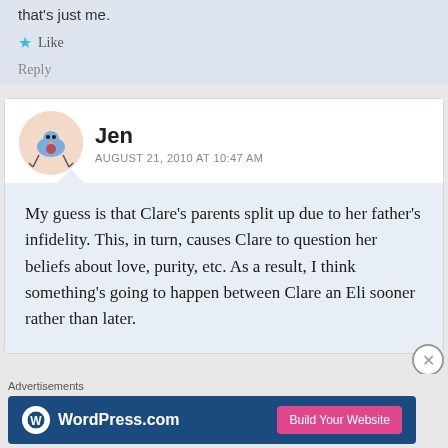that's just me.
Like
Reply
Jen
AUGUST 21, 2010 AT 10:47 AM
My guess is that Clare's parents split up due to her father's infidelity. This, in turn, causes Clare to question her beliefs about love, purity, etc. As a result, I think something's going to happen between Clare an Eli sooner rather than later.
Advertisements
[Figure (screenshot): WordPress.com advertisement banner with logo and 'Build Your Website' button]